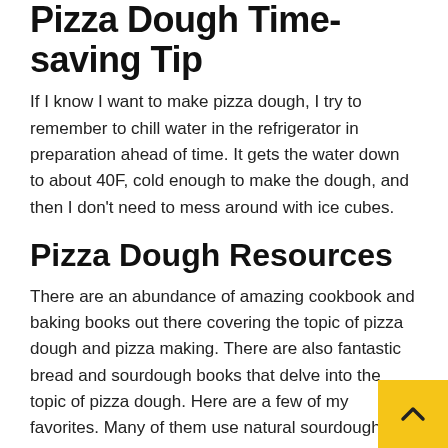Pizza Dough Time-saving Tip
If I know I want to make pizza dough, I try to remember to chill water in the refrigerator in preparation ahead of time. It gets the water down to about 40F, cold enough to make the dough, and then I don't need to mess around with ice cubes.
Pizza Dough Resources
There are an abundance of amazing cookbook and baking books out there covering the topic of pizza dough and pizza making. There are also fantastic bread and sourdough books that delve into the topic of pizza dough. Here are a few of my favorites. Many of them use natural sourdough as a leavener, which we're not covering today. I'll do a separate post on sourdough pizzas at some down the line. If you want to do a deeper dive on the how's and why's of pizza dough, here are some great resources: